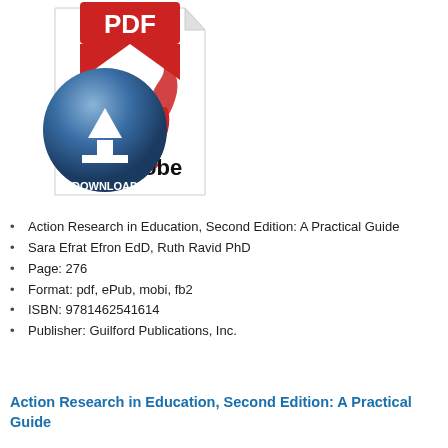[Figure (illustration): PDF download icon showing a red PDF label on a white folded-corner page with a blue download button and 'Adobe' text]
Action Research in Education, Second Edition: A Practical Guide
Sara Efrat Efron EdD, Ruth Ravid PhD
Page: 276
Format: pdf, ePub, mobi, fb2
ISBN: 9781462541614
Publisher: Guilford Publications, Inc.
Action Research in Education, Second Edition: A Practical Guide